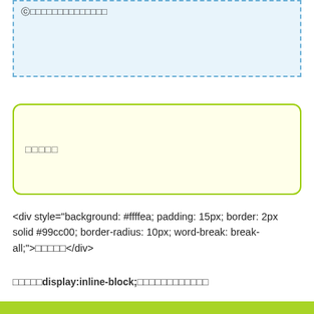[Figure (screenshot): A dashed blue-bordered box with light blue background containing Japanese text with a circled number icon]
□□□□□
<div style="background: #ffffea; padding: 15px; border: 2px solid #99cc00; border-radius: 10px; word-break: break-all;">□□□□□</div>
□□□□□display:inline-block;□□□□□□□□□□□□□□□